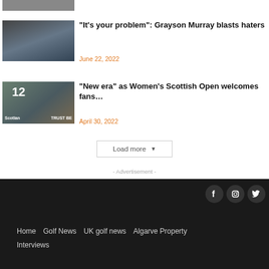[Figure (photo): Partial image of a person, cropped at top]
[Figure (photo): Golf player viewed from behind, crowd in background]
“It’s your problem”: Grayson Murray blasts haters
June 22, 2022
[Figure (photo): Women's Scottish Open golf scene with number 12 board, Scottish Trust banner]
“New era” as Women’s Scottish Open welcomes fans…
April 30, 2022
Load more
- Advertisement -
Home  Golf News  UK golf news  Algarve Property  Interviews